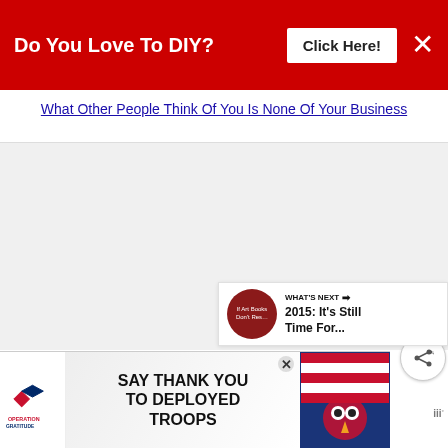Do You Love To DIY? [Click Here!] [X]
What Other People Think Of You Is None Of Your Business
[Figure (screenshot): Main content area with social sharing buttons (heart and share icons) on the right side, and a 'What's Next' preview panel showing '2015: It's Still Time For...' with a dark red circular thumbnail]
[Figure (infographic): Operation Gratitude advertisement banner: 'SAY THANK YOU TO DEPLOYED TROOPS' with patriotic imagery including an owl in military hat and American flag motifs, with a close button]